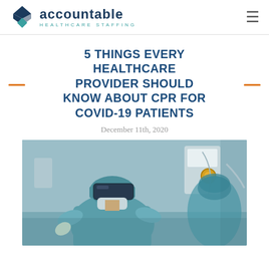Accountable Healthcare Staffing
5 THINGS EVERY HEALTHCARE PROVIDER SHOULD KNOW ABOUT CPR FOR COVID-19 PATIENTS
December 11th, 2020
[Figure (photo): Healthcare worker in full PPE including face shield, mask, and blue surgical gown in a medical setting]